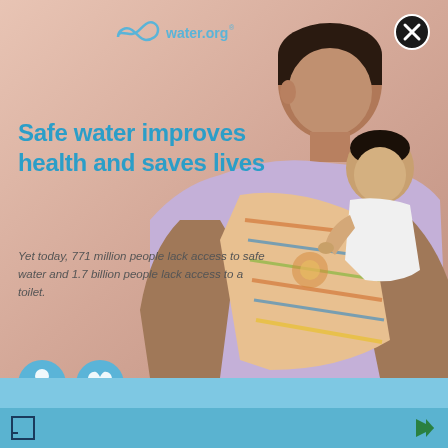[Figure (photo): Mother carrying baby wrapped in colorful striped cloth against peach/salmon wall background. The woman wears a lavender shirt and smiles at camera. The baby is dressed in white.]
water.org®
Safe water improves health and saves lives
Yet today, 771 million people lack access to safe water and 1.7 billion people lack access to a toilet.
[Figure (illustration): Two blue circular icons - a person/user icon and a medical/health cross icon]
[Figure (other): Bottom blue banner area with light blue background]